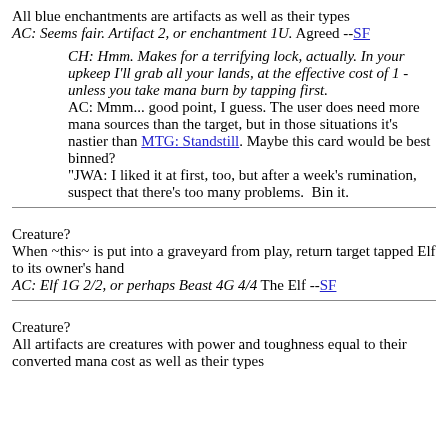All blue enchantments are artifacts as well as their types
AC: Seems fair. Artifact 2, or enchantment 1U. Agreed --SF
CH: Hmm. Makes for a terrifying lock, actually. In your upkeep I'll grab all your lands, at the effective cost of 1 - unless you take mana burn by tapping first.
AC: Mmm... good point, I guess. The user does need more mana sources than the target, but in those situations it's nastier than MTG: Standstill. Maybe this card would be best binned?
"JWA: I liked it at first, too, but after a week's rumination, suspect that there's too many problems.  Bin it.
Creature?
When ~this~ is put into a graveyard from play, return target tapped Elf to its owner's hand
AC: Elf 1G 2/2, or perhaps Beast 4G 4/4 The Elf --SF
Creature?
All artifacts are creatures with power and toughness equal to their converted mana cost as well as their types